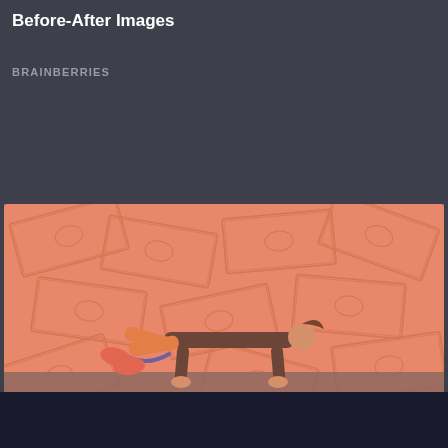Before-After Images
BRAINBERRIES
[Figure (photo): Woman doing a plank exercise with a resistance band around her ankles, wearing orange patterned leggings and black sports top, against a salmon/pink background with faded dollar bill pattern overlay]
Get Fit Without Spending Money On A Gym Membership!
HERBEAUTY
[Figure (photo): Digital science illustration showing glowing purple/blue cylindrical bacterial or DNA-like structures against a dark background with binary code matrix effect on the left side]